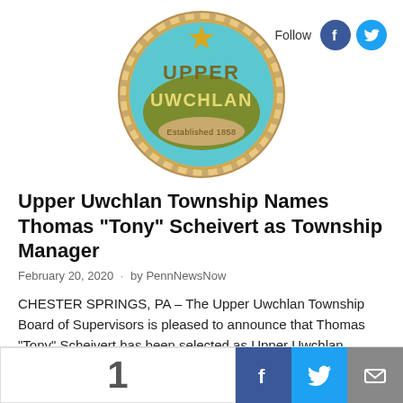[Figure (logo): Upper Uwchlan Township seal — circular logo with rope border, teal/blue background, 'UPPER' and 'UWCHLAN' text in olive/gold, star at top, 'Established 1858' banner at bottom]
Follow
Upper Uwchlan Township Names Thomas “Tony” Scheivert as Township Manager
February 20, 2020  ·  by PennNewsNow
CHESTER SPRINGS, PA – The Upper Uwchlan Township Board of Supervisors is pleased to announce that Thomas “Tony” Scheivert has been selected as Upper Uwchlan Township’s next Township Manager. This ...
[Figure (infographic): Bottom bar showing a large number 1, Facebook share button (blue), Twitter share button (teal), and Email/envelope share button (gray)]